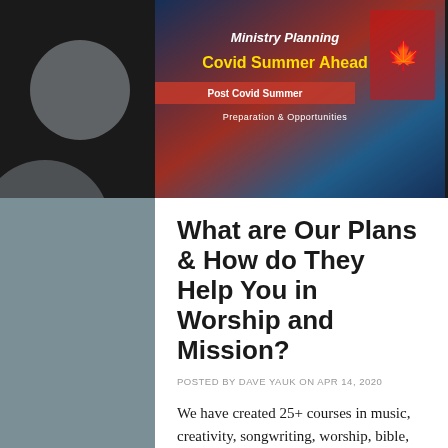[Figure (screenshot): Banner image with text overlay showing 'Ministry Planning - Post Covid Summer Ahead - Preparation & Opportunities' with a Canadian flag visible, red and blue background with bold white and yellow text]
What are Our Plans & How do They Help You in Worship and Mission?
POSTED BY DAVE YAUK ON APR 14, 2020
We have created 25+ courses in music, creativity, songwriting, worship, bible, theology, and mission that can help you grow